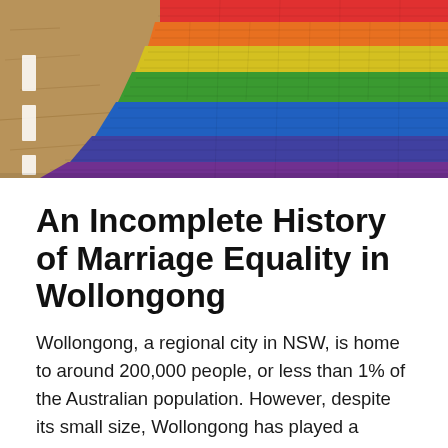[Figure (photo): Aerial or ground-level view of a rainbow-coloured pedestrian crossing or pavement, showing horizontal stripes of red, orange, yellow, green, blue, indigo, and violet on brick-paved ground, with a sandy/dirt area visible on the left side.]
An Incomplete History of Marriage Equality in Wollongong
Wollongong, a regional city in NSW, is home to around 200,000 people, or less than 1% of the Australian population. However, despite its small size, Wollongong has played a significant role in the history of marriage equality in Australia. That includes political trailblazers in support of, as well as staunch advocates against, change, plus influential grass-roots community campaigners.